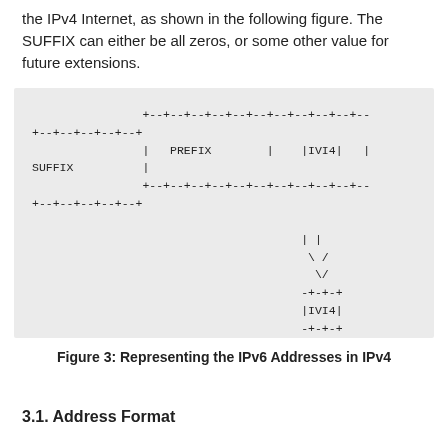the IPv4 Internet, as shown in the following figure. The SUFFIX can either be all zeros, or some other value for future extensions.
[Figure (schematic): ASCII art diagram showing an IPv6 address structure with PREFIX, IVI4, and SUFFIX fields arranged in a box format, with arrows pointing down to an extracted IVI4 field box.]
Figure 3: Representing the IPv6 Addresses in IPv4
3.1. Address Format